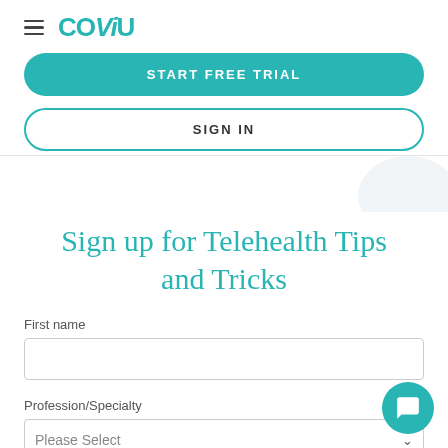[Figure (logo): Coviu logo with hamburger menu icon]
START FREE TRIAL
SIGN IN
Sign up for Telehealth Tips and Tricks
First name
Profession/Specialty
Please Select